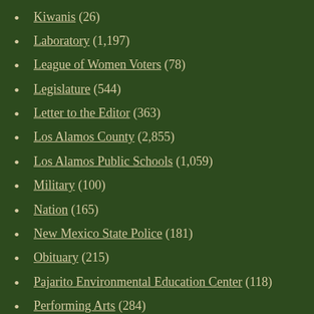Kiwanis (26)
Laboratory (1,197)
League of Women Voters (78)
Legislature (544)
Letter to the Editor (363)
Los Alamos County (2,855)
Los Alamos Public Schools (1,059)
Military (100)
Nation (165)
New Mexico State Police (181)
Obituary (215)
Pajarito Environmental Education Center (118)
Performing Arts (284)
Police (812)
Politics (1,101)
Public Safety (861)